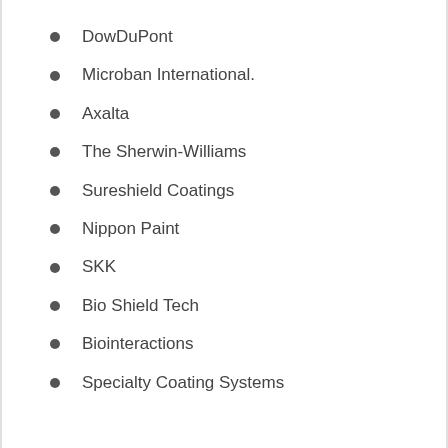DowDuPont
Microban International.
Axalta
The Sherwin-Williams
Sureshield Coatings
Nippon Paint
SKK
Bio Shield Tech
Biointeractions
Specialty Coating Systems